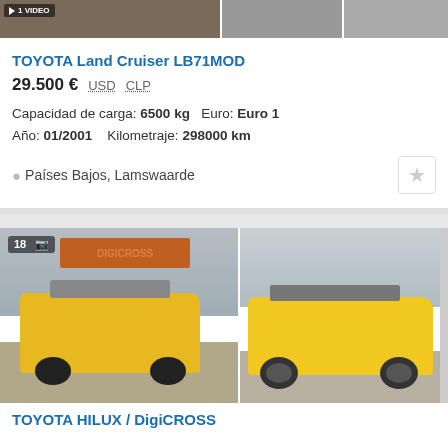[Figure (photo): Three thumbnail images of a Toyota Land Cruiser, partial view at top of page]
TOYOTA Land Cruiser LB71MOD
29.500 € USD CLP
Capacidad de carga: 6500 kg   Euro: Euro 1
Año: 01/2001   Kilometraje: 298000 km
Países Bajos, Lamswaarde
[Figure (photo): Photos of a yellow Toyota Hilux / DigiCROSS pickup truck with equipment mounted on roof, shown at a dealership building and profile view]
TOYOTA HILUX / DigiCROSS